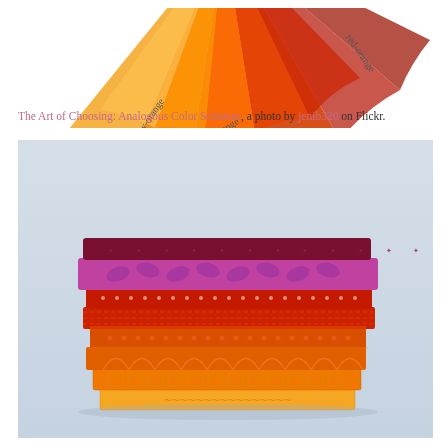[Figure (other): Partial color wheel showing analogous warm colors: yellow-orange, orange, red-orange segments with radiating wedges, labels visible at bottom (yellow-orange, orange) and right side (red-orange). Top portion of the wheel is cropped.]
The Art of Choosing: Analogous Color Schemes, a photo by jenib320 on Flickr.
[Figure (photo): A photograph of a neatly stacked pile of folded fabric swatches arranged in analogous warm colors from bottom to top: yellow/orange at bottom, progressing through orange, red-orange, red, to deep purple/burgundy at top. Light blue-gray background.]